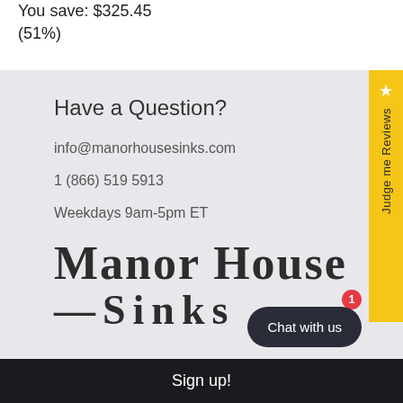You save: $325.45 (51%)
Have a Question?
info@manorhousesinks.com
1 (866) 519 5913
Weekdays 9am-5pm ET
[Figure (logo): Manor House Sinks brand logo in large serif font]
Judge me Reviews
Chat with us
Sign up!